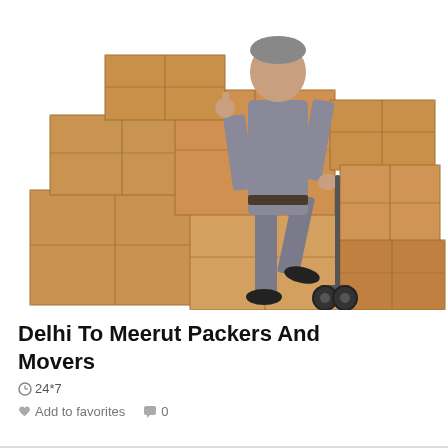[Figure (photo): A man in gray uniform with a hand truck/dolly surrounded by stacked cardboard boxes on a white background, giving thumbs up.]
Delhi To Meerut Packers And Movers
24*7
Add to favorites   0